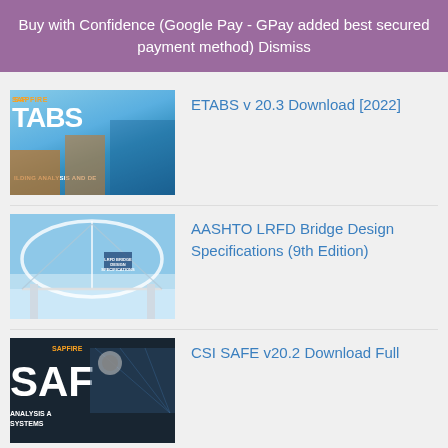Buy with Confidence (Google Pay - GPay added best secured payment method) Dismiss
ETABS v 20.3 Download [2022]
AASHTO LRFD Bridge Design Specifications (9th Edition)
CSI SAFE v20.2 Download Full
ETABS v 20.2 Download [2022]